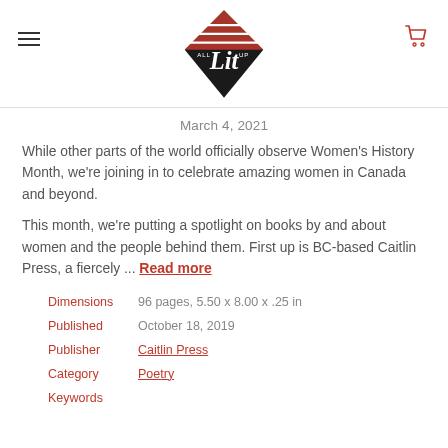ALL LIT UP — navigation header with logo, hamburger menu, and cart icon
March 4, 2021
While other parts of the world officially observe Women's History Month, we're joining in to celebrate amazing women in Canada and beyond.
This month, we're putting a spotlight on books by and about women and the people behind them. First up is BC-based Caitlin Press, a fiercely ... Read more
| Field | Value |
| --- | --- |
| Dimensions | 96 pages, 5.50 x 8.00 x .25 in |
| Published | October 18, 2019 |
| Publisher | Caitlin Press |
| Category | Poetry |
| Keywords |  |